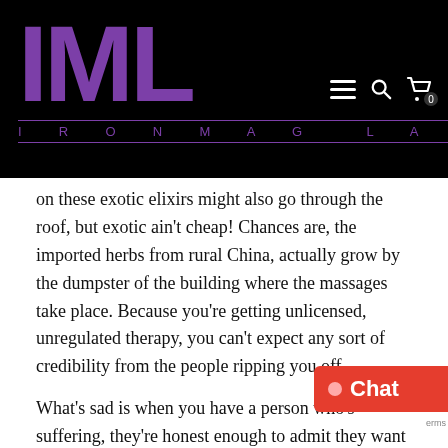IML IRONMAG LABS
on these exotic elixirs might also go through the roof, but exotic ain't cheap! Chances are, the imported herbs from rural China, actually grow by the dumpster of the building where the massages take place. Because you're getting unlicensed, unregulated therapy, you can't expect any sort of credibility from the people ripping you off.
What's sad is when you have a person who's suffering, they're honest enough to admit they want to avoid surgery at all costs, and then find themselves taken. We're not talking about stupid people, here. We're not